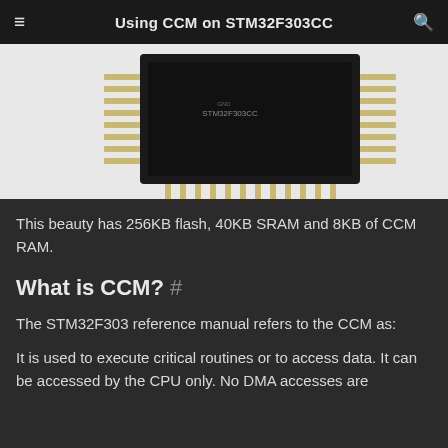Using CCM on STM32F303CC
[Figure (photo): Close-up photo of an STM32F303CC microcontroller chip module with pin headers, showing the black PCB and gold/silver pins from an angled top-down perspective on a white background.]
This beauty has 256KB flash, 40KB SRAM and 8KB of CCM RAM.
What is CCM? #
The STM32F303 reference manual refers to the CCM as:
It is used to execute critical routines or to access data. It can be accessed by the CPU only. No DMA accesses are